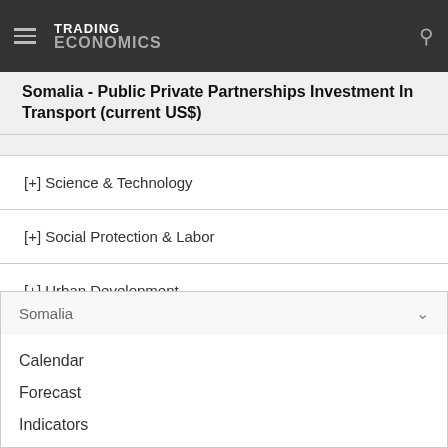TRADING ECONOMICS
Somalia - Public Private Partnerships Investment In Transport (current US$)
[+] Science & Technology
[+] Social Protection & Labor
[+] Urban Development
Somalia
Calendar
Forecast
Indicators